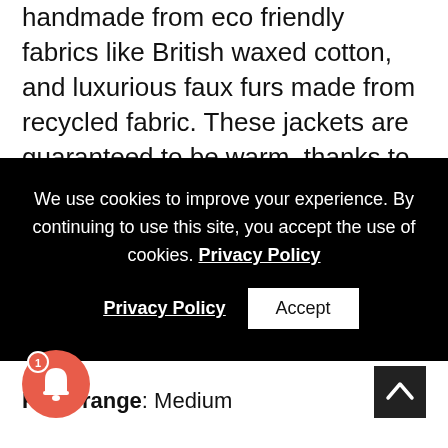handmade from eco friendly fabrics like British waxed cotton, and luxurious faux furs made from recycled fabric. These jackets are guaranteed to be warm, thanks to their Thermore insulation. It's eco-friendly, as it is comprised of 100% post-consumer recycled plastic
We use cookies to improve your experience. By continuing to use this site, you accept the use of cookies. Privacy Policy  Accept
Price range: Medium
[Figure (other): Notification bell icon button with red circle badge showing number 1]
[Figure (other): Back to top button — dark square with upward chevron arrow]